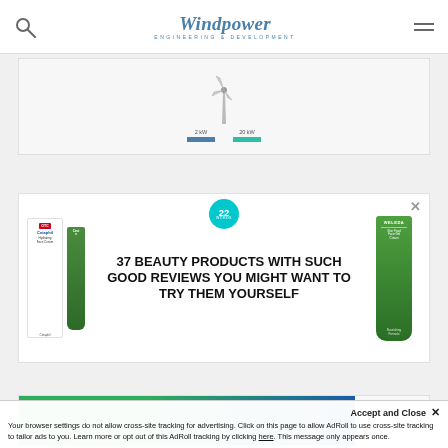Windpower Engineering & Development
[Figure (illustration): Wind turbine illustration with two legend items: 2 kW (blue) and 20 kW (teal)]
[Figure (advertisement): Beauty products advertisement: '37 BEAUTY PRODUCTS WITH SUCH GOOD REVIEWS YOU MIGHT WANT TO TRY THEM YOURSELF' featuring Cetaphil and Weleda products, with a '22 words' badge]
[Figure (advertisement): Green and blue banner advertisement, partially visible with large text 'give your']
Your browser settings do not allow cross-site tracking for advertising. Click on this page to allow AdRoll to use cross-site tracking to tailor ads to you. Learn more or opt out of this AdRoll tracking by clicking here. This message only appears once.